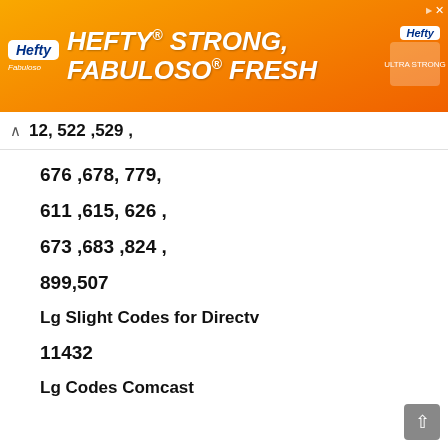[Figure (other): Hefty / Fabuloso advertisement banner: orange background with 'HEFTY STRONG, FABULOSO FRESH' text in white bold italic, Hefty logo, Fabuloso logo, and product imagery]
12, 522 ,529 ,
676 ,678, 779,
611 ,615, 626 ,
673 ,683 ,824 ,
899,507
Lg Slight Codes for Directv
11432
Lg Codes Comcast